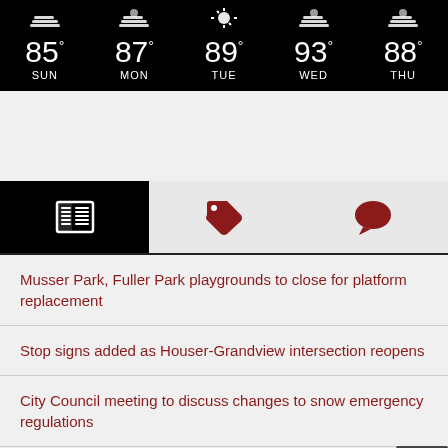[Figure (infographic): 5-day weather forecast widget on black background showing icons and temperatures: 85° SUN, 87° MON, 89° TUE, 93° WED, 88° THU]
[Figure (infographic): Navigation tab bar with three icons: newspaper/news (active, black background), tag (dark red), and speech bubble (dark red)]
Musser Park, Fuller Park playgrounds to close for platform replacement
Stop signs added as Houser-Grandview intersection reopens
City Council meeting to discuss changes to snow emergency regulations
City releases monthly administrator report for July